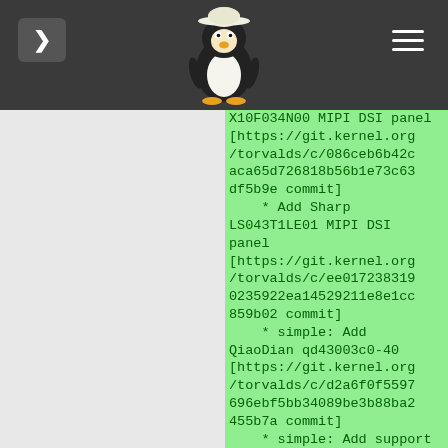Navigation bar with back button, Tux penguin logo, and menu button
X10F034N00 MIPI DSI panel [https://git.kernel.org/torvalds/c/086ceb6b42caca65d726818b56b1e73c63df5b9e commit]
    * Add Sharp LS043T1LE01 MIPI DSI panel [https://git.kernel.org/torvalds/c/ee0172383190235922ea14529211e8e1cc859b02 commit]
    * simple: Add QiaoDian qd43003c0-40 [https://git.kernel.org/torvalds/c/d2a6f0f5597696ebf5bb34089be3b88ba2455b7a commit]
    * simple: Add support for BOE TV080WUM-NL0 [https://git.kernel.org/torvalds/c/c8521969dea2b8e10ecbba86e0221e4f63